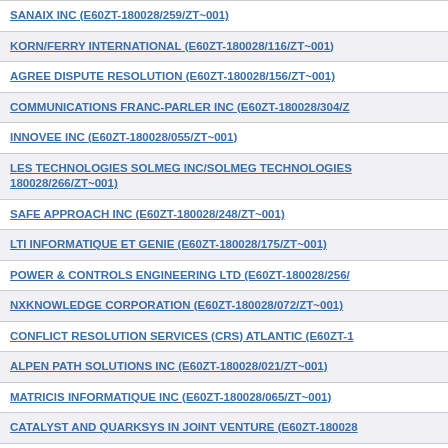SANAIX INC (E60ZT-180028/259/ZT~001)
KORN/FERRY INTERNATIONAL (E60ZT-180028/116/ZT~001)
AGREE DISPUTE RESOLUTION (E60ZT-180028/156/ZT~001)
COMMUNICATIONS FRANC-PARLER INC (E60ZT-180028/304/ZT~...)
INNOVEE INC (E60ZT-180028/055/ZT~001)
LES TECHNOLOGIES SOLMEG INC/SOLMEG TECHNOLOGIES ... 180028/266/ZT~001)
SAFE APPROACH INC (E60ZT-180028/248/ZT~001)
LTI INFORMATIQUE ET GENIE (E60ZT-180028/175/ZT~001)
POWER & CONTROLS ENGINEERING LTD (E60ZT-180028/256/...)
NXKNOWLEDGE CORPORATION (E60ZT-180028/072/ZT~001)
CONFLICT RESOLUTION SERVICES (CRS) ATLANTIC (E60ZT-1...)
ALPEN PATH SOLUTIONS INC (E60ZT-180028/021/ZT~001)
MATRICIS INFORMATIQUE INC (E60ZT-180028/065/ZT~001)
CATALYST AND QUARKSYS IN JOINT VENTURE (E60ZT-180028...)
SARAH MACFADYEN COMMUNICATIONS (E60ZT-180028/005/ZT~...)